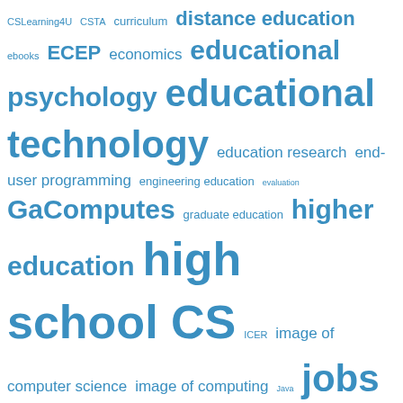[Figure (other): Tag cloud / word cloud with education and computer science related terms in varying font sizes, all in blue. Terms include: CSLearning4U, CSTA, curriculum, distance education, ebooks, ECEP, economics, educational psychology, educational technology, education research, end-user programming, engineering education, evaluation, GaComputes, graduate education, higher education, high school CS, ICER, image of computer science, image of computing, Java, jobs, K-12, K12, learning science, learning sciences, live coding, Logo, MediaComp, Media Computation, MOOCopalypse, MOOCs, NCWIT, NSF, peer instruction, perception of university, programming, programming languages, public policy, Python, robots, science education, Scratch, SIGCSE, STEM, teachers, teaching, undergraduate]